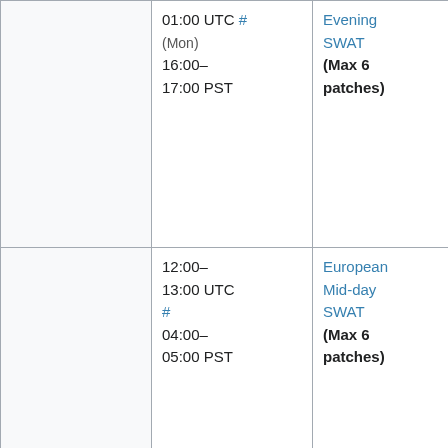|  | Time | Name | Members (truncated) |
| --- | --- | --- | --- |
|  | 01:00 UTC # (Mon) 16:00–17:00 PST | Evening SWAT (Max 6 patches) | (twentyafter... Roan (RoanKattouw... Sébastien (Dereckson), T (thcipriani) Niharika (Niha or Željko (zelj... |
|  | 12:00–13:00 UTC # 04:00–05:00 PST | European Mid-day SWAT (Max 6 patches) | addshore, Ant (hashar), Katie (aude), Max (MaxSem), Muk (twentyafter... Roan (RoanKattouw... Sébastien (Dereckson), T (thcipriani) Niharika (Niha... |